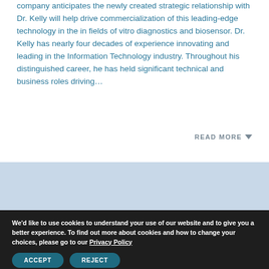company anticipates the newly created strategic relationship with Dr. Kelly will help drive commercialization of this leading-edge technology in the in fields of vitro diagnostics and biosensor. Dr. Kelly has nearly four decades of experience innovating and leading in the Information Technology industry. Throughout his distinguished career, he has held significant technical and business roles driving...
READ MORE ▼
We'd like to use cookies to understand your use of our website and to give you a better experience. To find out more about cookies and how to change your choices, please go to our Privacy Policy